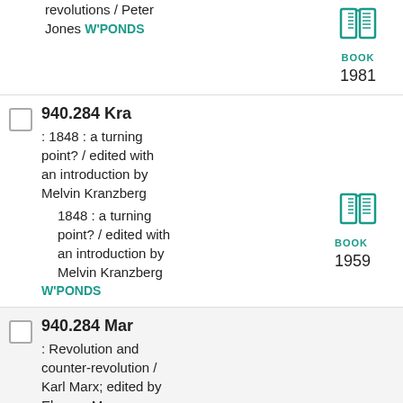revolutions / Peter Jones W'PONDS BOOK 1981
940.284 Kra : 1848 : a turning point? / edited with an introduction by Melvin Kranzberg — 1848 : a turning point? / edited with an introduction by Melvin Kranzberg W'PONDS BOOK 1959
940.284 Mar : Revolution and counter-revolution / Karl Marx; edited by Eleanor Marx